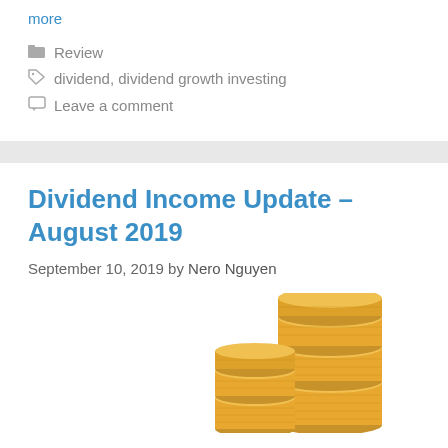more
Review
dividend, dividend growth investing
Leave a comment
Dividend Income Update – August 2019
September 10, 2019 by Nero Nguyen
[Figure (photo): Stack of gold coins growing upward, symbolizing dividend income growth]